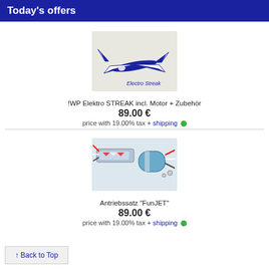Today's offers
[Figure (photo): RC model airplane (Electro Streak) white and blue, top view on packaging]
!WP Elektro STREAK incl. Motor + Zubehör
89.00 €
price with 19.00% tax + shipping
[Figure (photo): FunJET motor and ESC drive unit with wires, electronics components on white background]
Antriebssatz "FunJET"
89.00 €
price with 19.00% tax + shipping
↑ Back to Top